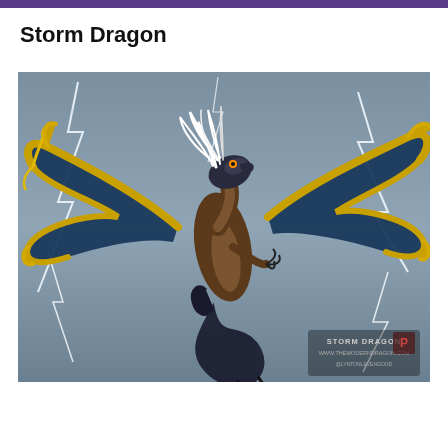Storm Dragon
[Figure (illustration): Digital illustration of a Storm Dragon with blue and gold wings spread wide, white flowing mane, dark serpentine tail curled in a loop, set against a stormy grey sky with lightning bolts. Watermark text reads: STORM DRAGON / WWW.THEMODERNDRAGON.COM / @LYNTONLEVENGOOD]